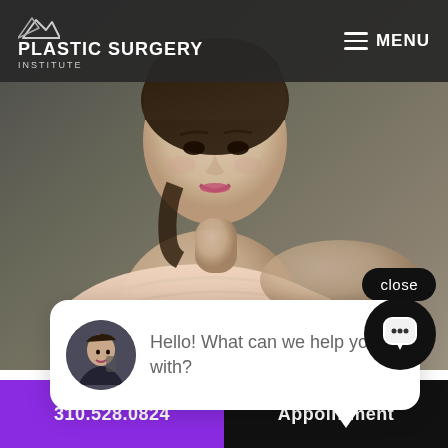[Figure (screenshot): Plastic Surgery Institute website screenshot showing navigation bar with logo and MENU label, a hero image of an elegant woman in a strapless cream dress with dark background, a chat popup with avatar and text 'Hello! What can we help you with?', a close button, a chat icon button, and a bottom bar with phone number and appointment button.]
PLASTIC SURGERY
INSTITUTE
MENU
close
Hello! What can we help you with?
310.528.0824
Appointment